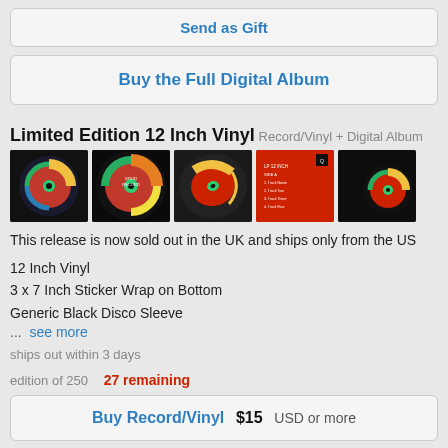Send as Gift
Buy the Full Digital Album
Limited Edition 12 Inch Vinyl
Record/Vinyl + Digital Album
[Figure (photo): Five thumbnail photos of a 12 inch vinyl record showing the label, sleeve, and sticker wrap from various angles]
This release is now sold out in the UK and ships only from the US
12 Inch Vinyl
3 x 7 Inch Sticker Wrap on Bottom
Generic Black Disco Sleeve
...  see more
ships out within 3 days
edition of 250   27 remaining
Buy Record/Vinyl  $15  USD or more